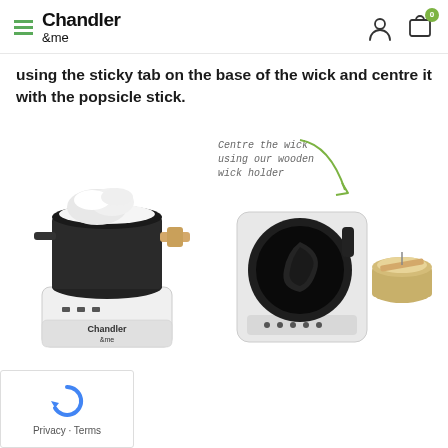Chandler & me — navigation header with hamburger menu, user icon, and cart icon (badge: 0)
using the sticky tab on the base of the wick and centre it with the popsicle stick.
[Figure (photo): Left: Black melt pot with white wax/soap on a white Chandler & me induction base unit, with a wooden handle. Right: Black melt pot from above showing dark melted wax on induction base, next to a candle jar with a wooden popsicle stick/wick holder. Handwritten annotation: 'Centre the wick using our wooden wick holder' with green arrow pointing to the jar.]
Privacy · Terms